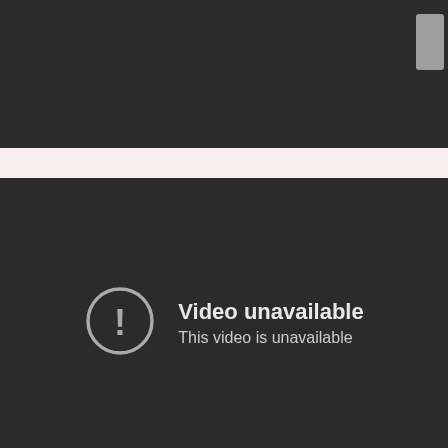[Figure (screenshot): Dark UI top bar with a grey button element in top-right corner]
[Figure (screenshot): Video player error screen with exclamation icon, title 'Video unavailable' and subtitle 'This video is unavailable' on dark background]